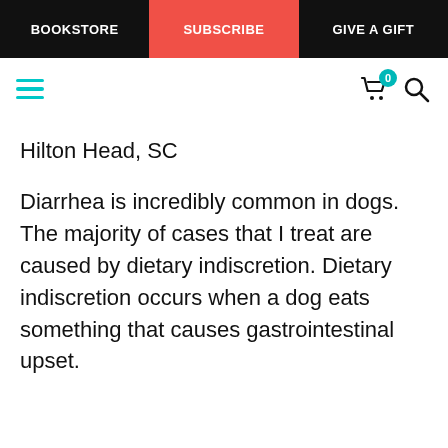BOOKSTORE | SUBSCRIBE | GIVE A GIFT
Hilton Head, SC
Diarrhea is incredibly common in dogs. The majority of cases that I treat are caused by dietary indiscretion. Dietary indiscretion occurs when a dog eats something that causes gastrointestinal upset.